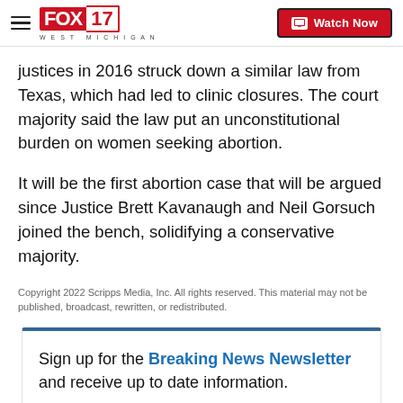FOX 17 WEST MICHIGAN | Watch Now
justices in 2016 struck down a similar law from Texas, which had led to clinic closures. The court majority said the law put an unconstitutional burden on women seeking abortion.
It will be the first abortion case that will be argued since Justice Brett Kavanaugh and Neil Gorsuch joined the bench, solidifying a conservative majority.
Copyright 2022 Scripps Media, Inc. All rights reserved. This material may not be published, broadcast, rewritten, or redistributed.
Sign up for the Breaking News Newsletter and receive up to date information.